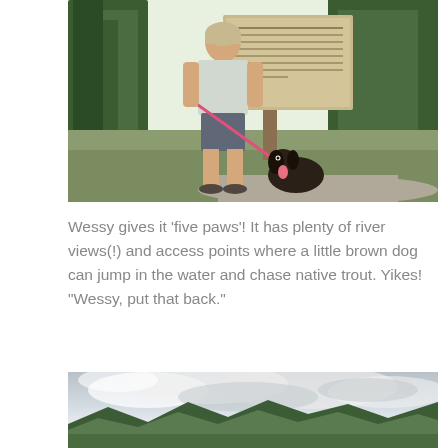[Figure (photo): Woman in gray t-shirt and shorts holding a pink leash with a small dark brown dog sitting beside her, standing in front of a trail information sign board. Green forest trees visible in background.]
Wessy gives it ‘five paws’! It has plenty of river views(!) and access points where a little brown dog can jump in the water and chase native trout. Yikes! “Wessy, put that back.”
[Figure (photo): Panoramic landscape photo showing green forested mountains under a dramatic cloudy sky with light breaking through overcast clouds.]